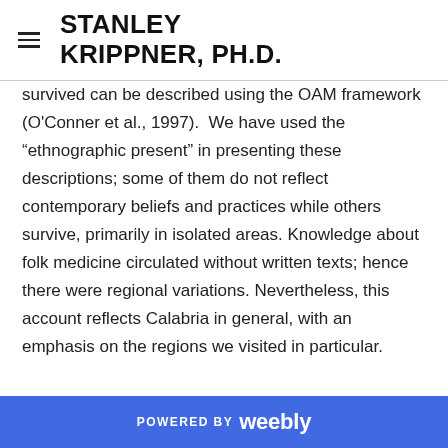STANLEY KRIPPNER, PH.D.
survived can be described using the OAM framework (O'Conner et al., 1997).  We have used the “ethnographic present” in presenting these descriptions; some of them do not reflect contemporary beliefs and practices while others survive, primarily in isolated areas. Knowledge about folk medicine circulated without written texts; hence there were regional variations. Nevertheless, this account reflects Calabria in general, with an emphasis on the regions we visited in particular.
POWERED BY weebly